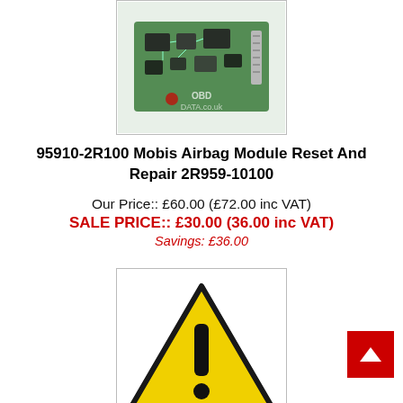[Figure (photo): Product image of an ECU/airbag module circuit board with OBD Data logo watermark]
95910-2R100 Mobis Airbag Module Reset And Repair 2R959-10100
Our Price:: £60.00 (£72.00 inc VAT)
SALE PRICE:: £30.00 (36.00 inc VAT)
Savings: £36.00
[Figure (illustration): Warning triangle icon with exclamation mark on yellow background with shadow]
Module not listed ??
Our Price:: £60.00 (£72.00 inc VAT)